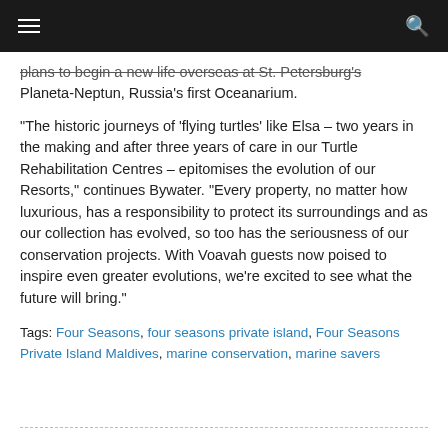plans to begin a new life overseas at St. Petersburg's Planeta-Neptun, Russia's first Oceanarium.
“The historic journeys of ‘flying turtles’ like Elsa – two years in the making and after three years of care in our Turtle Rehabilitation Centres – epitomises the evolution of our Resorts,” continues Bywater. “Every property, no matter how luxurious, has a responsibility to protect its surroundings and as our collection has evolved, so too has the seriousness of our conservation projects. With Voavah guests now poised to inspire even greater evolutions, we’re excited to see what the future will bring.”
Tags: Four Seasons, four seasons private island, Four Seasons Private Island Maldives, marine conservation, marine savers